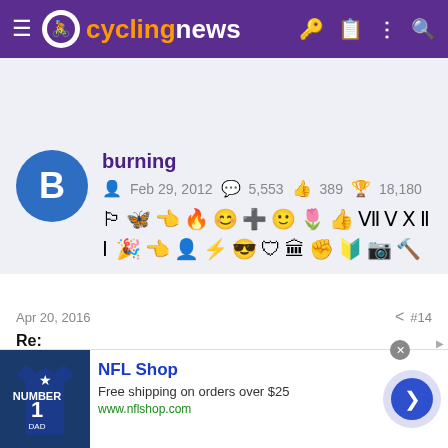[Figure (screenshot): Cyclingnews website header with purple background, logo, and navigation icons]
[Figure (screenshot): User profile card for user 'burning' with avatar, join date Feb 29, 2012, 5,553 messages, 389 likes, 18,180 points, and achievement badges]
Apr 20, 2016   #14
Re:
[Figure (screenshot): NFL Shop advertisement showing a Dallas Cowboys #1 Dad shirt, free shipping on orders over $25, www.nflshop.com]